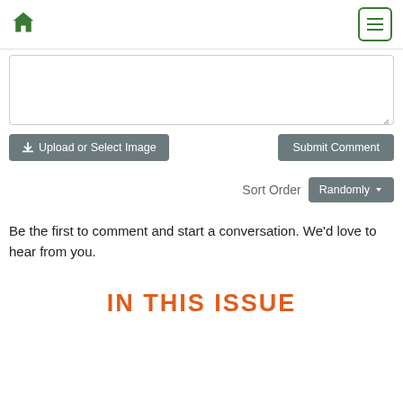Home | Menu
[Figure (screenshot): Text area input field for comment submission]
Upload or Select Image
Submit Comment
Sort Order Randomly
Be the first to comment and start a conversation. We'd love to hear from you.
IN THIS ISSUE